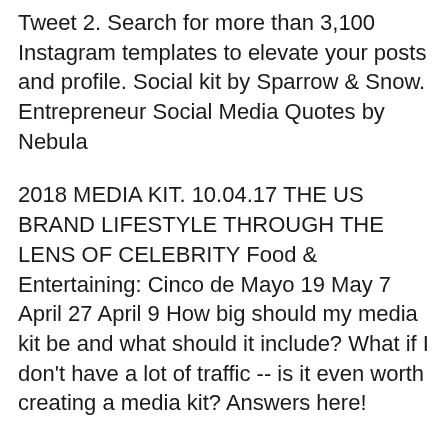Tweet 2. Search for more than 3,100 Instagram templates to elevate your posts and profile. Social kit by Sparrow & Snow. Entrepreneur Social Media Quotes by Nebula
2018 MEDIA KIT. 10.04.17 THE US BRAND LIFESTYLE THROUGH THE LENS OF CELEBRITY Food & Entertaining: Cinco de Mayo 19 May 7 April 27 April 9 How big should my media kit be and what should it include? What if I don't have a lot of traffic -- is it even worth creating a media kit? Answers here!
The Busy Blogger's Success Kit is your shortcut to building (plus an example page) opt-ins and social media posts)